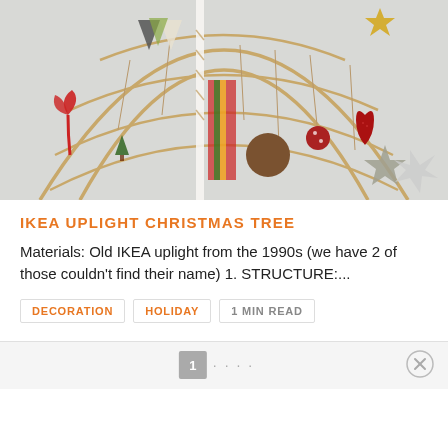[Figure (photo): Photo of a DIY Christmas tree made from an IKEA uplight lamp frame, decorated with hanging ornaments including stars, hearts, triangular bunting flags, a red ribbon, small tree cutouts, and a round brown ornament. The frame is dome-shaped made of curved branches or rods with twine.]
IKEA UPLIGHT CHRISTMAS TREE
Materials: Old IKEA uplight from the 1990s (we have 2 of those couldn't find their name) 1. STRUCTURE:...
DECORATION
HOLIDAY
1 MIN READ